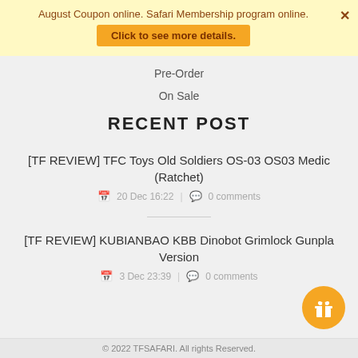August Coupon online. Safari Membership program online. Click to see more details.
Pre-Order
On Sale
RECENT POST
[TF REVIEW] TFC Toys Old Soldiers OS-03 OS03 Medic (Ratchet)
20 Dec 16:22  |  0 comments
[TF REVIEW] KUBIANBAO KBB Dinobot Grimlock Gunpla Version
3 Dec 23:39  |  0 comments
© 2022 TFSAFARI. All rights Reserved.